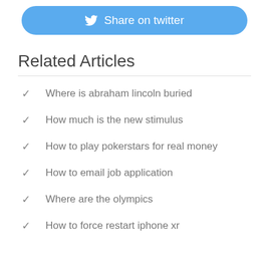[Figure (other): Share on Twitter button with Twitter bird icon]
Related Articles
Where is abraham lincoln buried
How much is the new stimulus
How to play pokerstars for real money
How to email job application
Where are the olympics
How to force restart iphone xr